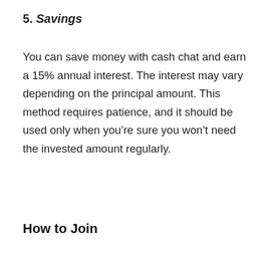5. Savings
You can save money with cash chat and earn a 15% annual interest. The interest may vary depending on the principal amount. This method requires patience, and it should be used only when you’re sure you won’t need the invested amount regularly.
How to Join